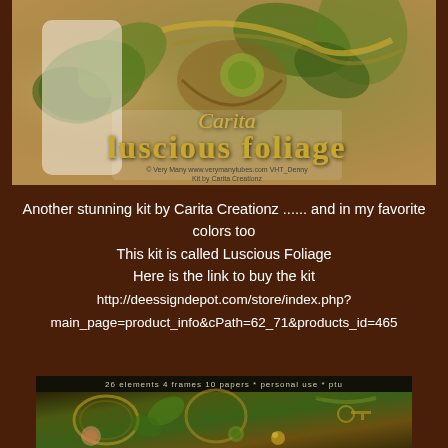[Figure (illustration): Luscious Foliage kit preview banner by Carita Creationz showing decorative text 'Carita luscious foliage' with floral and foliage elements, credited to Very Many www.verymanytubes.com VHT_Denny and Kit by Carita Creationz]
Another stunning kit by Carita Creationz ...... and in my favorite colors too
This kit is called Luscious Foliage
Here is the link to buy the kit
http://deessigndepot.com/store/index.php?main_page=product_info&cPath=62_71&products_id=465
[Figure (illustration): Preview image of the Luscious Foliage kit showing 26 elements 4 frames 10 papers, personal use, ptu — decorative elements including frames, roses, flowers, keys, ribbons in olive green and gold tones]